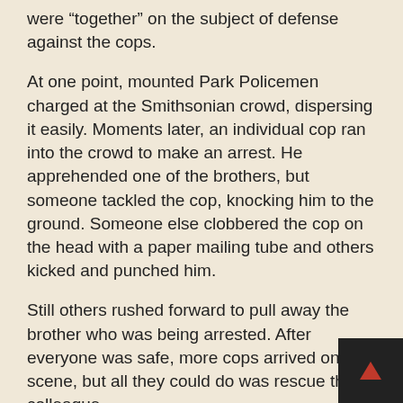were “together” on the subject of defense against the cops.
At one point, mounted Park Policemen charged at the Smithsonian crowd, dispersing it easily. Moments later, an individual cop ran into the crowd to make an arrest. He apprehended one of the brothers, but someone tackled the cop, knocking him to the ground. Someone else clobbered the cop on the head with a paper mailing tube and others kicked and punched him.
Still others rushed forward to pull away the brother who was being arrested. After everyone was safe, more cops arrived on the scene, but all they could do was rescue their colleague.
Similar incidents occurred Sunday and again Monday on the Inauguration route and in the streets of the city. It wasn’t always possible to save people from getting arrested—and sometimes would-be helpers got nabbed themselves. But folks discovered that if the got together with a group of trusted friends, it was